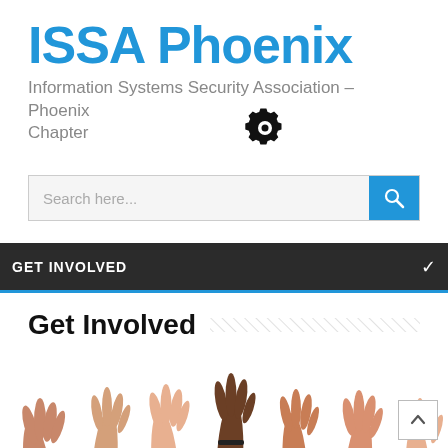ISSA Phoenix
Information Systems Security Association – Phoenix Chapter
[Figure (screenshot): Search bar with placeholder text 'Search here...' and blue search button with magnifying glass icon]
[Figure (illustration): Gear/settings icon in dark color]
GET INVOLVED
Get Involved
[Figure (photo): Diverse group of people raising their hands up against a white background]